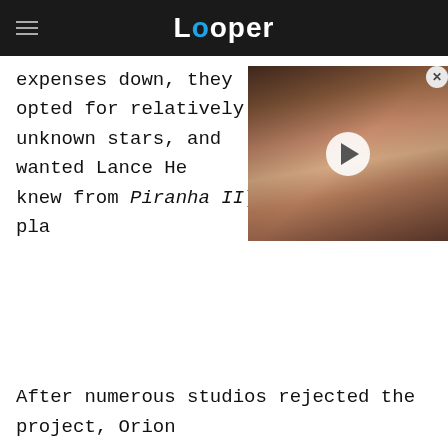Looper
expenses down, they opted for relatively unknown stars, and wanted Lance He[nriksen (whom he knew from Piranha II) to pla[y the lead].
[Figure (screenshot): Video thumbnail overlay showing a man with curly hair making an expressive face, with a play button circle overlaid in the center. A close (X) button appears in the top right corner.]
After numerous studios rejected the project, Orion